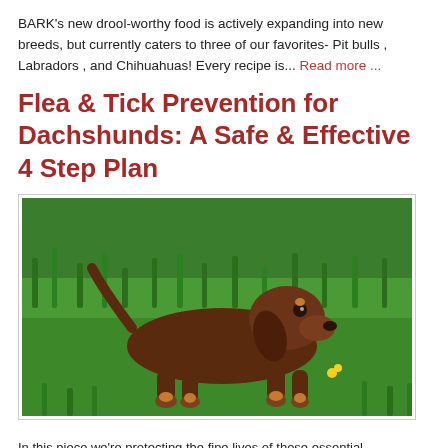BARK's new drool-worthy food is actively expanding into new breeds, but currently caters to three of our favorites- Pit bulls , Labradors , and Chihuahuas! Every recipe is... Read more ...
Flea & Tick Prevention for Dachshunds: A Safe & Effective 4 Step Plan
[Figure (photo): A brown dachshund dog standing on green grass, looking up at the camera]
In this piece we're protecting the fine lives of those essential...